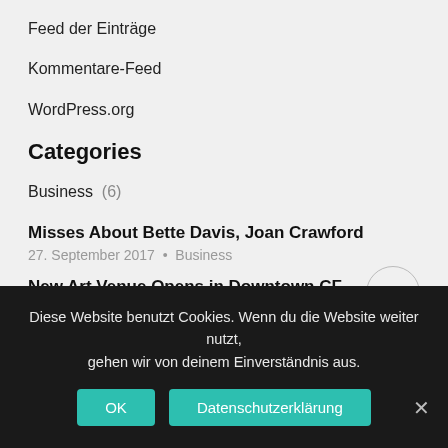Feed der Einträge
Kommentare-Feed
WordPress.org
Categories
Business (6)
Misses About Bette Davis, Joan Crawford
27. September 2017 • Business
New Art Venue Opens in Downtown CF
27. September 2017 • Business
Diese Website benutzt Cookies. Wenn du die Website weiter nutzt, gehen wir von deinem Einverständnis aus.